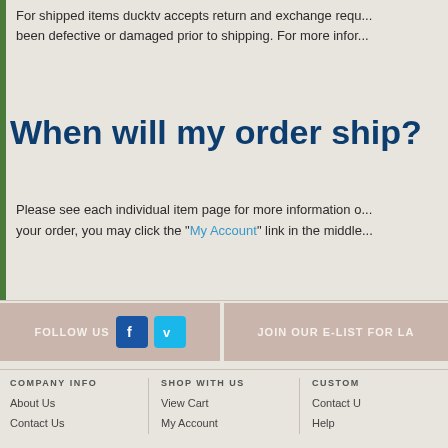For shipped items ducktv accepts return and exchange requ... been defective or damaged prior to shipping. For more infor...
When will my order ship?
Please see each individual item page for more information o... your order, you may click the "My Account" link in the middle...
FOLLOW US
JOIN OUR E-LIST FOR LA
COMPANY INFO
SHOP WITH US
CUSTOM
About Us
View Cart
Contact U
Contact Us
My Account
Help